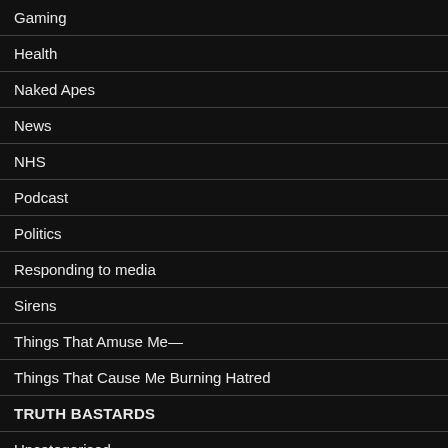Gaming
Health
Naked Apes
News
NHS
Podcast
Politics
Responding to media
Sirens
Things That Amuse Me—
Things That Cause Me Burning Hatred
TRUTH BASTARDS
Uncategorised